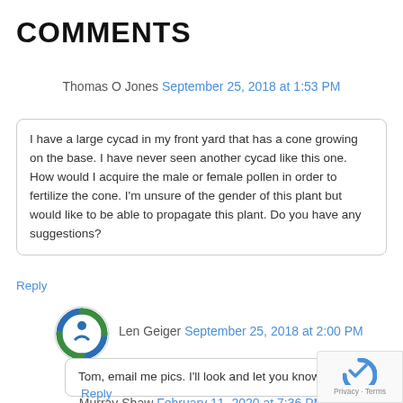COMMENTS
Thomas O Jones September 25, 2018 at 1:53 PM
I have a large cycad in my front yard that has a cone growing on the base. I have never seen another cycad like this one. How would I acquire the male or female pollen in order to fertilize the cone. I'm unsure of the gender of this plant but would like to be able to propagate this plant. Do you have any suggestions?
Reply
[Figure (logo): Circular logo with blue and green colors]
Len Geiger September 25, 2018 at 2:00 PM
Tom, email me pics. I'll look and let you know.
Reply
Murray Shaw February 11, 2020 at 7:36 PM